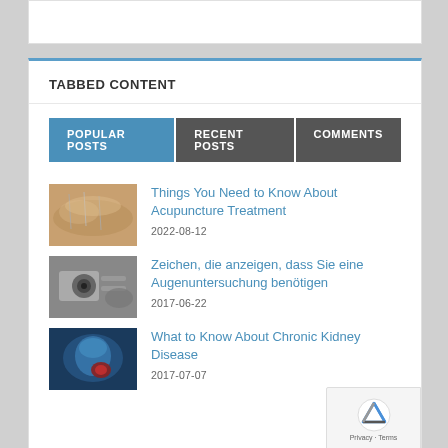TABBED CONTENT
POPULAR POSTS | RECENT POSTS | COMMENTS
[Figure (photo): Acupuncture treatment on person's back]
Things You Need to Know About Acupuncture Treatment
2022-08-12
[Figure (photo): Person undergoing eye examination with slit lamp]
Zeichen, die anzeigen, dass Sie eine Augenuntersuchung benötigen
2017-06-22
[Figure (photo): Medical illustration of kidney with tumor, glowing blue]
What to Know About Chronic Kidney Disease
2017-07-07